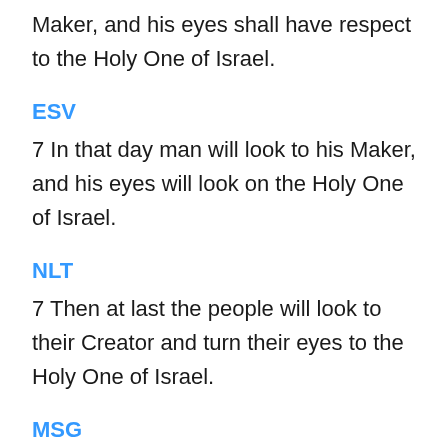Maker, and his eyes shall have respect to the Holy One of Israel.
ESV
7 In that day man will look to his Maker, and his eyes will look on the Holy One of Israel.
NLT
7 Then at last the people will look to their Creator and turn their eyes to the Holy One of Israel.
MSG
7 Yes, the Day is coming when people